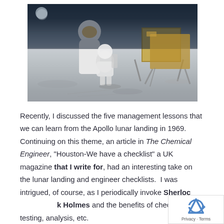[Figure (photo): Photograph of an astronaut on the lunar surface during the Apollo moon landing, with a lunar module visible in the background against a dark sky.]
Recently, I discussed the five management lessons that we can learn from the Apollo lunar landing in 1969. Continuing on this theme, an article in The Chemical Engineer, “Houston-We have a checklist” a UK magazine that I write for, had an interesting take on the lunar landing and engineer checklists. I was intrigued, of course, as I periodically invoke Sherlock Holmes and the benefits of checklists for testing, analysis, etc.